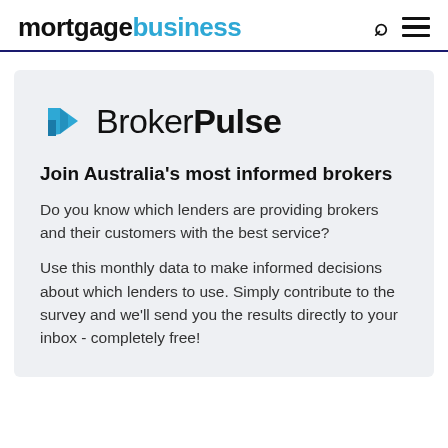mortgagebusiness
[Figure (logo): BrokerPulse logo with blue arrow icon and text 'BrokerPulse']
Join Australia's most informed brokers
Do you know which lenders are providing brokers and their customers with the best service?
Use this monthly data to make informed decisions about which lenders to use. Simply contribute to the survey and we'll send you the results directly to your inbox - completely free!